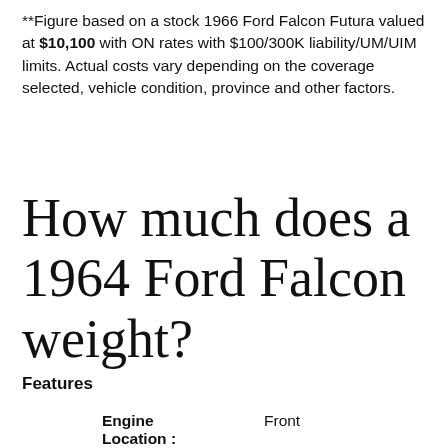**Figure based on a stock 1966 Ford Falcon Futura valued at $10,100 with ON rates with $100/300K liability/UM/UIM limits. Actual costs vary depending on the coverage selected, vehicle condition, province and other factors.
How much does a 1964 Ford Falcon weight?
Features
|  |  |
| --- | --- |
| Engine Location : | Front |
| Drive Type : | Rear Wheel |